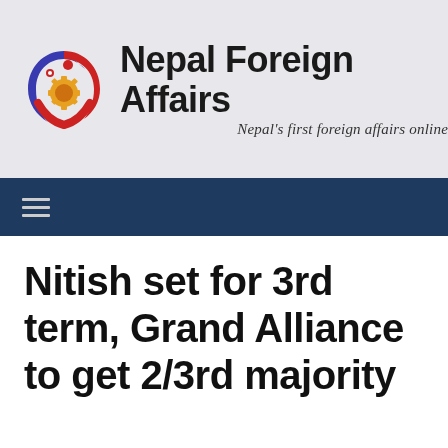[Figure (logo): Nepal Foreign Affairs logo with circular icon containing blue and red design elements, and bold black text 'Nepal Foreign Affairs' with italic subtitle 'Nepal's first foreign affairs online']
☰
Nitish set for 3rd term, Grand Alliance to get 2/3rd majority